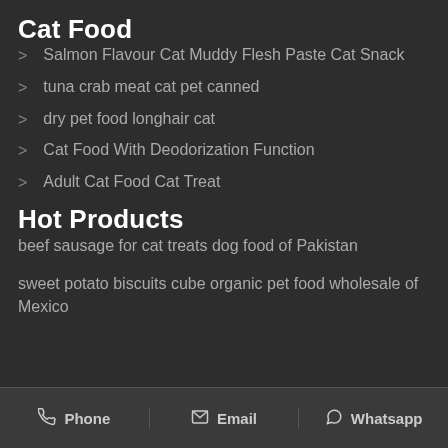Cat Food
Salmon Flavour Cat Muddy Flesh Paste Cat Snack
tuna crab meat cat pet canned
dry pet food longhair cat
Cat Food With Deodorization Function
Adult Cat Food Cat Treat
Hot Products
beef sausage for cat treats dog food of Pakistan
sweet potato biscuits cube organic pet food wholesale of Mexico
Phone  Email  Whatsapp